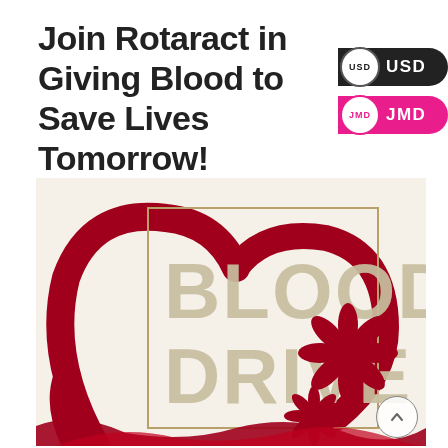Join Rotaract in Giving Blood to Save Lives Tomorrow!
[Figure (illustration): Blood Drive promotional image with large 'BLOOD DRIVE' text in beige/tan on a cream background inside a gold rectangle border, surrounded by a large red ribbon/heart shape and red tropical flower decorations. A red brush-stroke splash is at the bottom.]